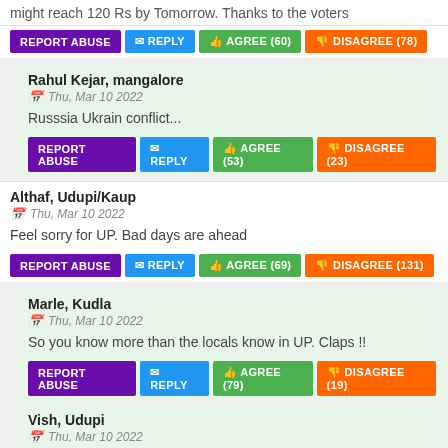might reach 120 Rs by Tomorrow. Thanks to the voters
REPORT ABUSE | REPLY | AGREE (60) | DISAGREE (78)
Rahul Kejar, mangalore — Thu, Mar 10 2022 — Russsia Ukrain conflict...
REPORT ABUSE | REPLY | AGREE (53) | DISAGREE (23)
Althaf, Udupi/Kaup — Thu, Mar 10 2022 — Feel sorry for UP. Bad days are ahead
REPORT ABUSE | REPLY | AGREE (69) | DISAGREE (131)
Marle, Kudla — Thu, Mar 10 2022 — So you know more than the locals know in UP. Claps !!
REPORT ABUSE | REPLY | AGREE (79) | DISAGREE (19)
Vish, Udupi — Thu, Mar 10 2022 — tough to digest the results !